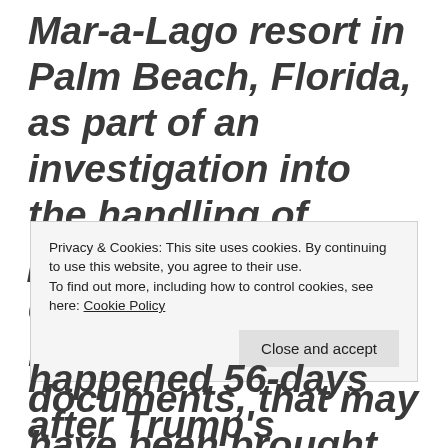Mar-a-Lago resort in Palm Beach, Florida, as part of an investigation into the handling of presidential documents, including classified documents, that may have been brought there. Note that it, allegedly, was 'three' people who told CNN about the situation. You know, 'three' that curse to their beloved
Privacy & Cookies: This site uses cookies. By continuing to use this website, you agree to their use. To find out more, including how to control cookies, see here: Cookie Policy
happened 56-days after Trump's